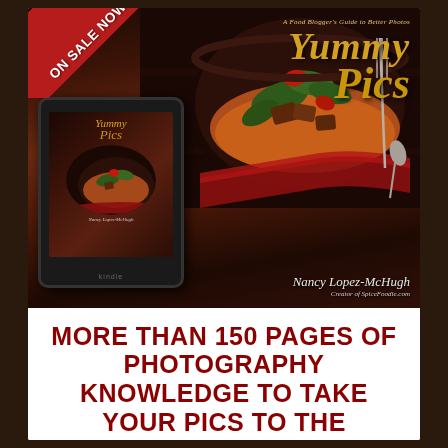[Figure (illustration): Book advertisement for 'Yummy Pics: A Food Blogger's Guide to Better Photos' by Nancy Lopez-McHugh. Shows book cover with food photo and Kindle e-reader device. Red diagonal 'ON SALE NOW' banner in top-left corner. Book cover features a bowl of colorful stir-fry food on dark wood background. Kindle device shows miniature version of the same book cover.]
MORE THAN 150 PAGES OF PHOTOGRAPHY KNOWLEDGE TO TAKE YOUR PICS TO THE